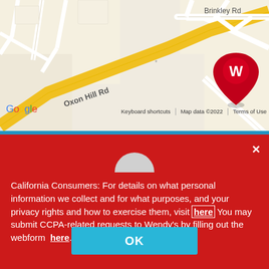[Figure (map): Google Maps screenshot showing Wendy's location at the intersection of Oxon Hill Rd with a red W pin marker. Street labels visible: Brinkley Rd, Oxon Hill Rd, Barnabas Rd. Google logo and map attribution at bottom.]
California Consumers: For details on what personal information we collect and for what purposes, and your privacy rights and how to exercise them, visit here You may submit CCPA-related requests to Wendy’s by filling out the webform here.
OK